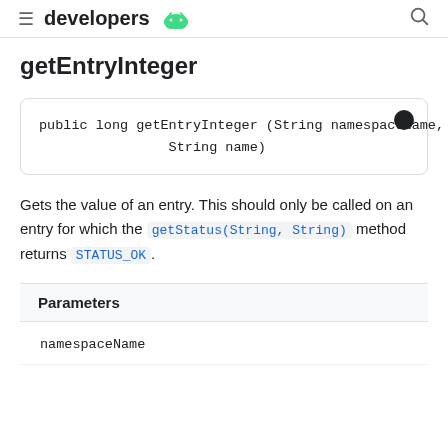developers [Android logo]
getEntryInteger
public long getEntryInteger (String namespaceName,
                String name)
Gets the value of an entry. This should only be called on an entry for which the getStatus(String, String) method returns STATUS_OK.
| Parameters |
| --- |
| namespaceName |